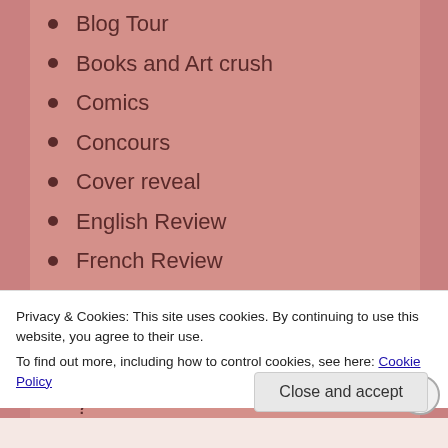Blog Tour
Books and Art crush
Comics
Concours
Cover reveal
English Review
French Review
Inks and Scratches
Interview
It's Monday, What are you reading ?
Monthly Recap
Privacy & Cookies: This site uses cookies. By continuing to use this website, you agree to their use.
To find out more, including how to control cookies, see here: Cookie Policy
Close and accept